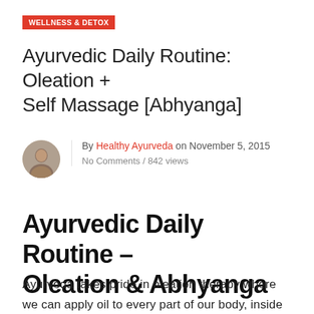WELLNESS & DETOX
Ayurvedic Daily Routine: Oleation + Self Massage [Abhyanga]
By Healthy Ayurveda on November 5, 2015
No Comments / 842 views
Ayurvedic Daily Routine – Oleation & Abhyanga
Ayurveda takes pride in oleation therapy where we can apply oil to every part of our body, inside and out. As we enter into Vata Season we enter into a period of dryness and coldness. The quality is light and we can feel